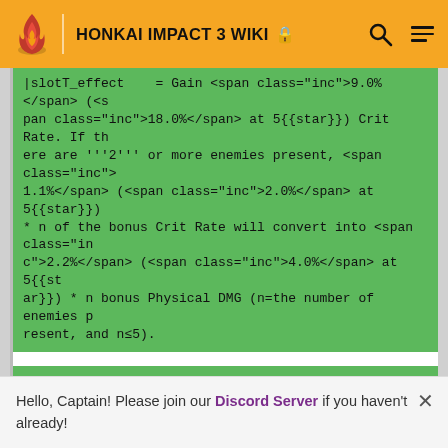HONKAI IMPACT 3 WIKI
|slotT_effect = Gain <span class="inc">9.0%</span> (<span class="inc">18.0%</span> at 5{{star}}) Crit Rate. If there are '''2''' or more enemies present, <span class="inc">1.1%</span> (<span class="inc">2.0%</span> at 5{{star}}) * n of the bonus Crit Rate will convert into <span class="inc">2.2%</span> (<span class="inc">4.0%</span> at 5{{star}}) * n bonus Physical DMG (n=the number of enemies present, and n≤5).
|slotM = Allan Poe (M)
|slotM_HP = 483
|slotM_ATK = 0
|slotM_DEF = 177
|slotM_CRT = 11
|slotM_effectName = The Raven
Hello, Captain! Please join our Discord Server if you haven't already!